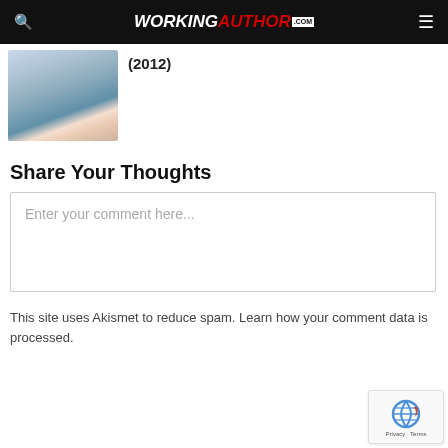WORKINGAUTHOR.COM
(2012)
Share Your Thoughts
Enter your comment here...
This site uses Akismet to reduce spam. Learn how your comment data is processed.